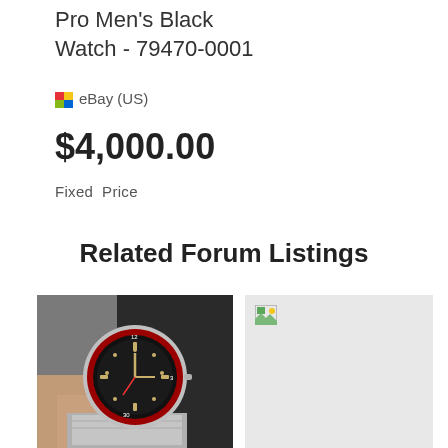Pro Men's Black Watch - 79470-0001
eBay (US)
$4,000.00
Fixed Price
Related Forum Listings
[Figure (photo): Photo of a watch with red bezel and dark dial being held by a hand, on a dark background]
[Figure (photo): Broken/missing image placeholder with small icon in top-left corner, light gray background]